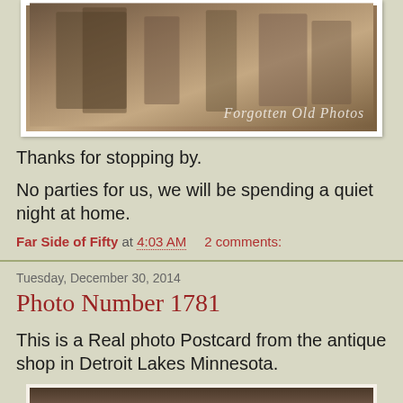[Figure (photo): Sepia-toned old photo with watermark text 'Forgotten Old Photos' in italic script at bottom right]
Thanks for stopping by.
No parties for us, we will be spending a quiet night at home.
Far Side of Fifty at 4:03 AM    2 comments:
Tuesday, December 30, 2014
Photo Number 1781
This is a Real photo Postcard from the antique shop in Detroit Lakes Minnesota.
[Figure (photo): Sepia-toned real photo postcard showing a young child wearing a white cap/bonnet, seated, from antique shop in Detroit Lakes Minnesota]